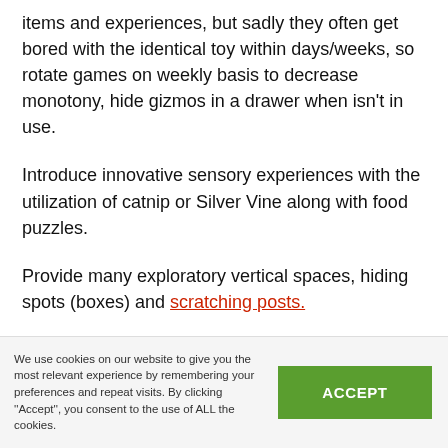items and experiences, but sadly they often get bored with the identical toy within days/weeks, so rotate games on weekly basis to decrease monotony, hide gizmos in a drawer when isn't in use.
Introduce innovative sensory experiences with the utilization of catnip or Silver Vine along with food puzzles.
Provide many exploratory vertical spaces, hiding spots (boxes) and scratching posts.
We use cookies on our website to give you the most relevant experience by remembering your preferences and repeat visits. By clicking "Accept", you consent to the use of ALL the cookies.